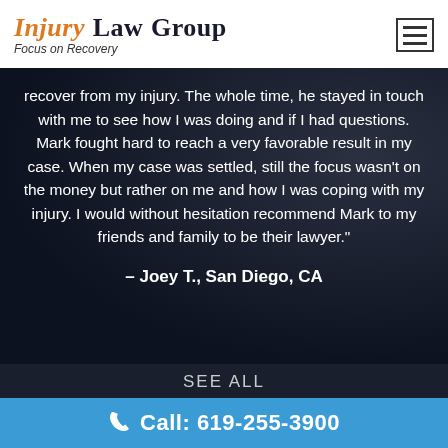INJURY LAW GROUP — Focus on Recovery
recover from my injury. The whole time, he stayed in touch with me to see how I was doing and if I had questions. Mark fought hard to reach a very favorable result in my case. When my case was settled, still the focus wasn't on the money but rather on me and how I was coping with my injury. I would without hesitation recommend Mark to my friends and family to be their lawyer."
– Joey T., San Diego, CA
SEE ALL
Call: 619-255-3900